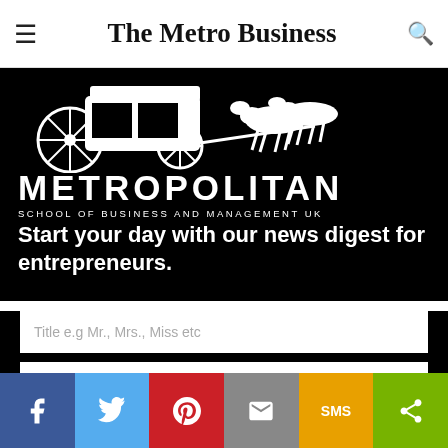The Metro Business
[Figure (logo): Metropolitan School of Business and Management UK logo — white horse-drawn carriage silhouette on black background, text METROPOLITAN SCHOOL OF BUSINESS AND MANAGEMENT UK]
Start your day with our news digest for entrepreneurs.
Title e.g Mr., Mrs., Miss etc
First Name
Last N...
[Figure (infographic): Social share bar with buttons: Facebook (dark blue), Twitter (light blue), Pinterest (red), Email (grey), SMS (orange/yellow), Share (green)]